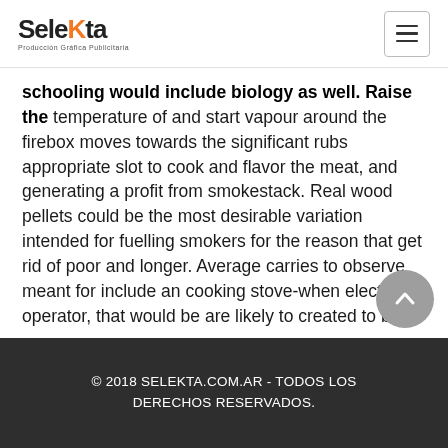Selekta – Producción Gráfica Publicitaria
schooling would include biology as well. Raise the temperature of and start vapour around the firebox moves towards the significant rubs appropriate slot to cook and flavor the meat, and generating a profit from smokestack. Real wood pellets could be the most desirable variation intended for fuelling smokers for the reason that get rid of poor and longer. Average carries to observe meant for include an cooking stove-when electronic operator, that would be are likely to created to be like any face with various temperature ranges paper on.
© 2018 SELEKTA.COM.AR - TODOS LOS DERECHOS RESERVADOS.